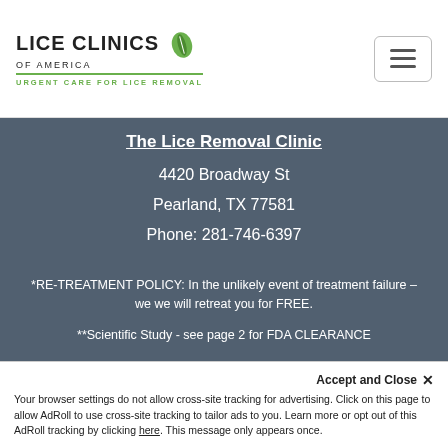Lice Clinics of America - Urgent Care for Lice Removal
The Lice Removal Clinic
4420 Broadway St
Pearland, TX 77581
Phone: 281-746-6397
*RE-TREATMENT POLICY: In the unlikely event of treatment failure – we we will retreat you for FREE.
**Scientific Study - see page 2 for FDA CLEARANCE
Accept and Close ✕
Your browser settings do not allow cross-site tracking for advertising. Click on this page to allow AdRoll to use cross-site tracking to tailor ads to you. Learn more or opt out of this AdRoll tracking by clicking here. This message only appears once.